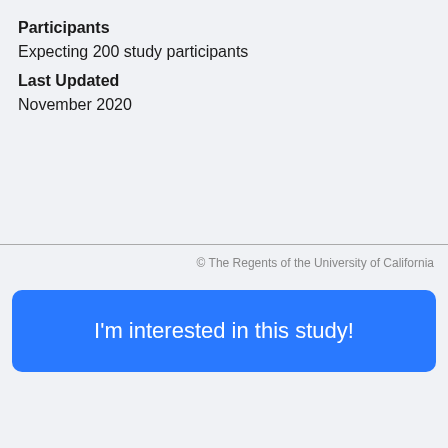Participants
Expecting 200 study participants
Last Updated
November 2020
© The Regents of the University of California
I'm interested in this study!